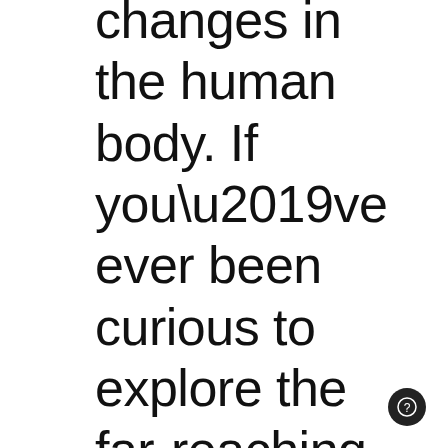changes in the human body. If you've ever been curious to explore the far-reaching impacts of thoughts and how